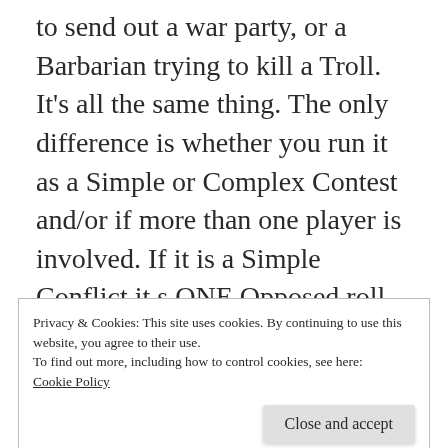to send out a war party, or a Barbarian trying to kill a Troll. It's all the same thing. The only difference is whether you run it as a Simple or Complex Contest and/or if more than one player is involved. If it is a Simple Conflict it s ONE Opposed roll and then straight to result. If it is Complex opponents compete to get the 5 Victory Points first, and then you compare the difference. The difference in Successes tells you how severe consequence you have to take.
Privacy & Cookies: This site uses cookies. By continuing to use this website, you agree to their use.
To find out more, including how to control cookies, see here:
Cookie Policy
Close and accept